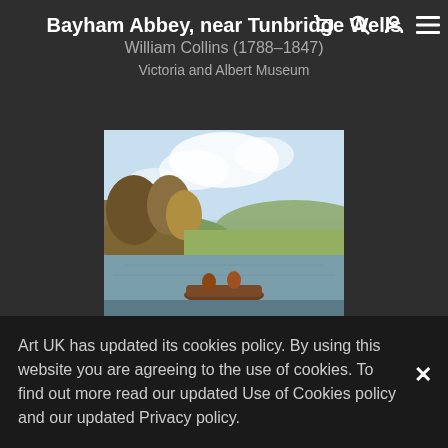Bayham Abbey, near Tunbridge Wells
William Collins (1788–1847)
Victoria and Albert Museum
[Figure (photo): Landscape painting showing a pastoral river scene with trees, rolling hills, and figures in a boat in the foreground, attributed to William Collins.]
Photo credit: Victoria and Albert Museum, London
Art UK has updated its cookies policy. By using this website you are agreeing to the use of cookies. To find out more read our updated Use of Cookies policy and our updated Privacy policy.